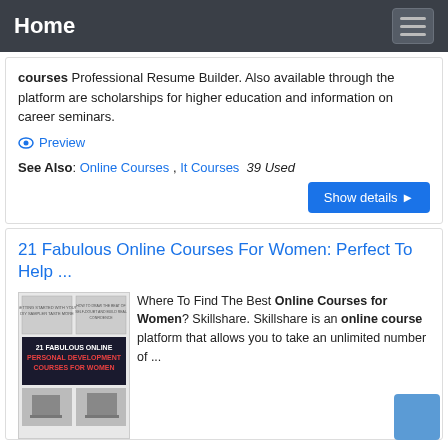Home
courses Professional Resume Builder. Also available through the platform are scholarships for higher education and information on career seminars.
Preview
See Also: Online Courses , It Courses  39 Used
Show details ▶
21 Fabulous Online Courses For Women: Perfect To Help ...
Where To Find The Best Online Courses for Women? Skillshare. Skillshare is an online course platform that allows you to take an unlimited number of ...
[Figure (illustration): Book cover image for '21 Fabulous Online Personal Development Courses for Women' showing multiple screenshots and red/white text on dark background]